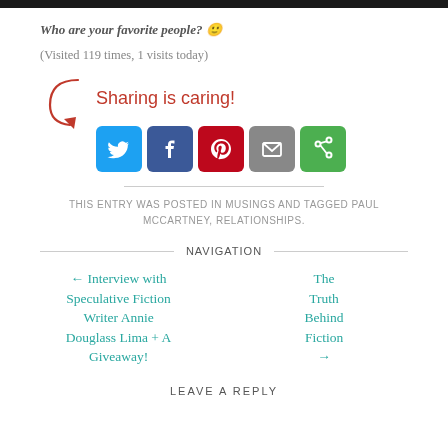Who are your favorite people? 🙂
(Visited 119 times, 1 visits today)
[Figure (infographic): Sharing is caring! text with arrow and social media share buttons: Twitter, Facebook, Pinterest, Email, Share]
THIS ENTRY WAS POSTED IN MUSINGS AND TAGGED PAUL MCCARTNEY, RELATIONSHIPS.
NAVIGATION
← Interview with Speculative Fiction Writer Annie Douglass Lima + A Giveaway!
The Truth Behind Fiction →
LEAVE A REPLY